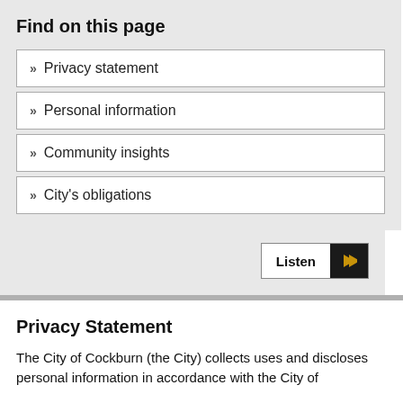Find on this page
» Privacy statement
» Personal information
» Community insights
» City's obligations
Privacy Statement
The City of Cockburn (the City) collects uses and discloses personal information in accordance with the City of